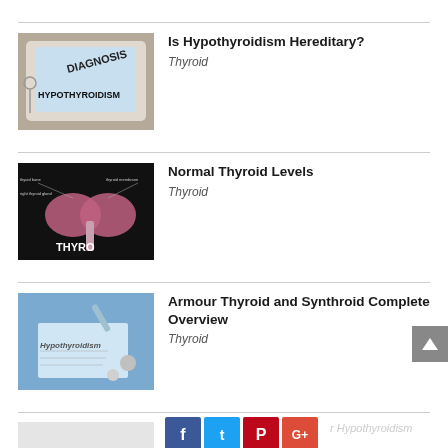[Figure (photo): Photo of a tablet showing 'DIAGNOSIS HYPOTHYROIDISM' text on screen with medical equipment]
Is Hypothyroidism Hereditary?
Thyroid
[Figure (illustration): Medical illustration of thyroid gland anatomy on dark background with label THYRO]
Normal Thyroid Levels
Thyroid
[Figure (photo): Photo showing Hypothyroidism medical document with syringe and pills on blue background]
Armour Thyroid and Synthroid Complete Overview
Thyroid
[Figure (photo): Partial photo, mostly grey/white, partially visible article about Hypothyroidism]
r Hypothyroidism